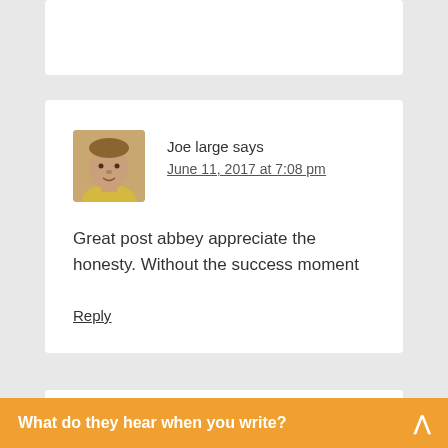[Figure (screenshot): Partial top comment card cropped at top of page]
Joe large says
June 11, 2017 at 7:08 pm
Great post abbey appreciate the honesty. Without the success moment
Reply
[Figure (screenshot): Partial bottom comment card cropped at bottom]
What do they hear when you write?